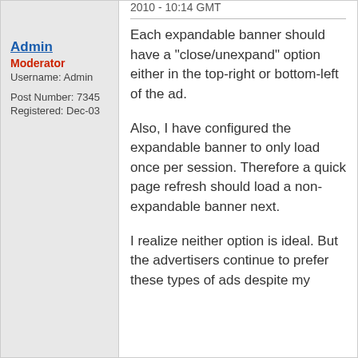2010 - 10:14 GMT
Admin
Moderator
Username: Admin

Post Number: 7345
Registered: Dec-03
Each expandable banner should have a "close/unexpand" option either in the top-right or bottom-left of the ad.

Also, I have configured the expandable banner to only load once per session. Therefore a quick page refresh should load a non-expandable banner next.

I realize neither option is ideal. But the advertisers continue to prefer these types of ads despite my efforts in educating...